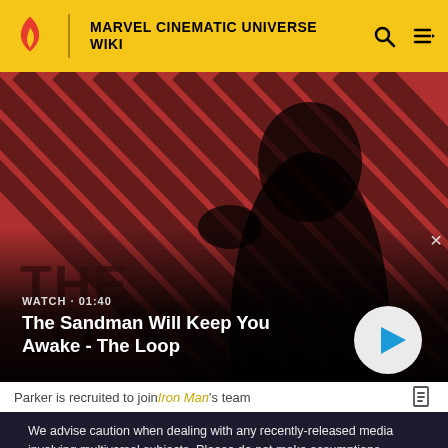MARVEL CINEMATIC UNIVERSE WIKI
[Figure (screenshot): Video thumbnail showing a dark figure with a crow on shoulder against a red diagonal striped background, titled 'The Sandman Will Keep You Awake - The Loop', WATCH · 01:40, with a play button]
Parker is recruited to join Iron Man's team
We advise caution when dealing with any recently-released media involving multiversal subjects. Please do not make assumptions regarding confusing wording, other sites' speculation, and people's headcanon around the internet.